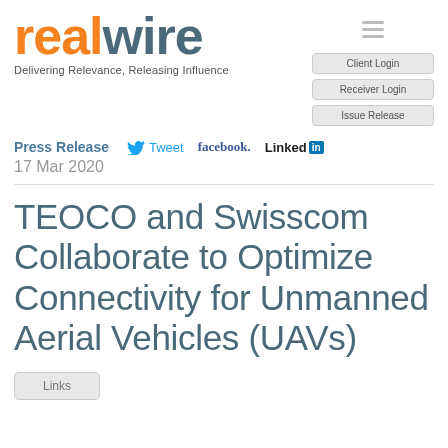[Figure (logo): RealWire logo with orange 'real' and dark teal 'wire' text]
Delivering Relevance, Releasing Influence
Client Login
Receiver Login
Issue Release
Press Release
Tweet
facebook.
Linked in
17 Mar 2020
TEOCO and Swisscom Collaborate to Optimize Connectivity for Unmanned Aerial Vehicles (UAVs)
Links